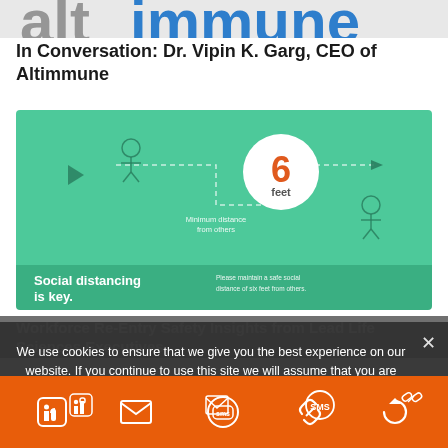[Figure (photo): Partial view of Altimmune logo — large letters in grey and blue partially visible at top]
In Conversation: Dr. Vipin K. Garg, CEO of Altimmune
[Figure (infographic): Social distancing infographic on green background. Shows two person icons connected by a dashed path, with a white circle containing the number 6 in orange and the word 'feet'. Text reads 'Minimum distance from others'. Bottom section with darker green reads 'Social distancing is key.' and 'Please maintain a safe social distance of six feet from others.']
Workforce Re-Entry Safety Insights from Lead Life Sciences Executives
We use cookies to ensure that we give you the best experience on our website. If you continue to use this site we will assume that you are happy with it.
[Figure (infographic): Orange footer bar with social sharing icons: LinkedIn, email/envelope, SMS chat bubble, link/chain, and a circular arrow/refresh icon, all in white.]